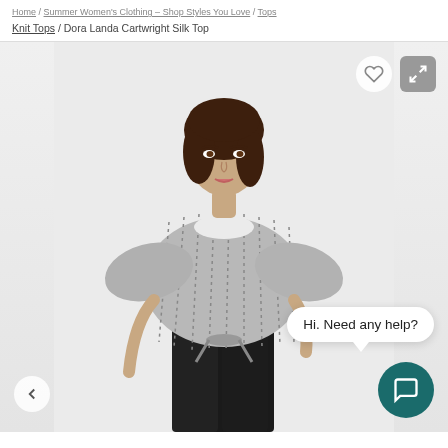Home / Summer Women's Clothing – Shop Styles You Love / Tops / Knit Tops / Dora Landa Cartwright Silk Top
[Figure (photo): Model wearing Dora Landa Cartwright Silk Top, a grey patterned knit top with batwing sleeves tied at the waist, paired with black pants. Overlaid UI elements include a wishlist heart button, expand/fullscreen button, a left navigation arrow, a chat bubble saying 'Hi. Need any help?', and a teal chat support button.]